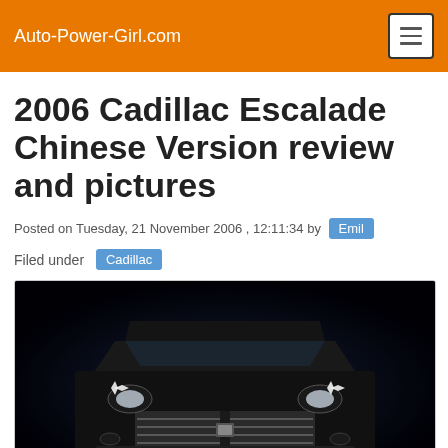Auto-Power-Girl.com
2006 Cadillac Escalade Chinese Version review and pictures
Posted on Tuesday, 21 November 2006 , 12:11:34 by Emil
Filed under Cadillac
[Figure (photo): Front view of a black 2006 Cadillac Escalade against a dark blue background with dramatic lighting]